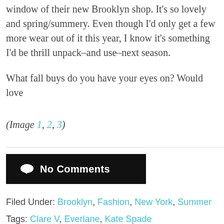window of their new Brooklyn shop. It's so lovely and spring/summery. Even though I'd only get a few more wear out of it this year, I know it's something I'd be thrilled to unpack–and use–next season.
What fall buys do you have your eyes on? Would love
(Image 1, 2, 3)
No Comments
Filed Under: Brooklyn, Fashion, New York, Summer
Tags: Clare V, Everlane, Kate Spade